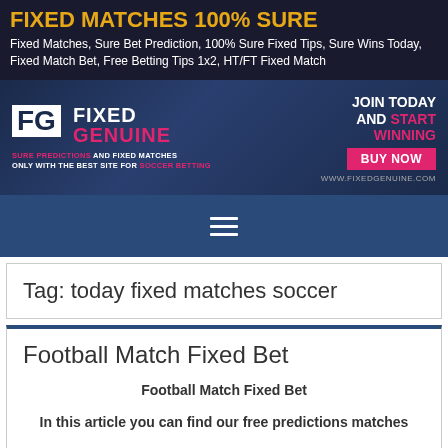FIXED MATCHES 100% SURE
Fixed Matches, Sure Bet Prediction, 100% Sure Fixed Tips, Sure Wins Today, Fixed Match Bet, Free Betting Tips 1x2, HT/FT Fixed Match
[Figure (illustration): Fixed Genuine banner advertisement with logo showing FG letters, brand name 'FIXED GENUINE', tagline 'SURE PREDICTIONS AND FIXED MATCHES ONLY WITH THE BEST SITE FOR SOCCER BETTING', and right side showing 'JOIN TODAY AND START WINNING BUY NOW' button and website www.fixedgenuine.com]
[Figure (infographic): Navigation bar with hamburger menu icon (three white horizontal lines) on blue background]
Tag: today fixed matches soccer
Football Match Fixed Bet
Football Match Fixed Bet

In this article you can find our free predictions matches

We will publish every day one or two single matches

But if you want our paid fixed matches then you must to contact us on email :